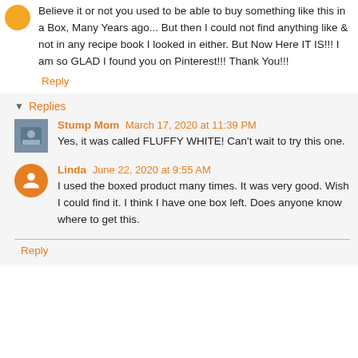Believe it or not you used to be able to buy something like this in a Box, Many Years ago... But then I could not find anything like & not in any recipe book I looked in either. But Now Here IT IS!!! I am so GLAD I found you on Pinterest!!! Thank You!!!
Reply
Replies
Stump Mom  March 17, 2020 at 11:39 PM
Yes, it was called FLUFFY WHITE! Can't wait to try this one.
Linda  June 22, 2020 at 9:55 AM
I used the boxed product many times. It was very good. Wish I could find it. I think I have one box left. Does anyone know where to get this.
Reply